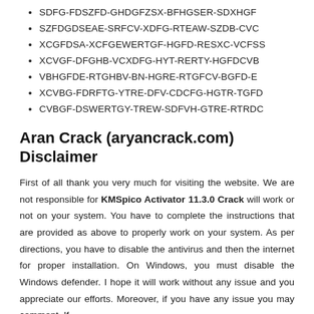SDFG-FDSZFD-GHDGFZSX-BFHGSER-SDXHGF
SZFDGDSEAE-SRFCV-XDFG-RTEAW-SZDB-CVC
XCGFDSA-XCFGEWERTGF-HGFD-RESXC-VCFSS
XCVGF-DFGHB-VCXDFG-HYT-RERTY-HGFDCVB
VBHGFDE-RTGHBV-BN-HGRE-RTGFCV-BGFD-E
XCVBG-FDRFTG-YTRE-DFV-CDCFG-HGTR-TGFD
CVBGF-DSWERTGY-TREW-SDFVH-GTRE-RTRDC
Aran Crack (aryancrack.com) Disclaimer
First of all thank you very much for visiting the website. We are not responsible for KMSpico Activator 11.3.0 Crack will work or not on your system. You have to complete the instructions that are provided as above to properly work on your system. As per directions, you have to disable the antivirus and then the internet for proper installation. On Windows, you must disable the Windows defender. I hope it will work without any issue and you appreciate our efforts. Moreover, if you have any issue you may comment. If